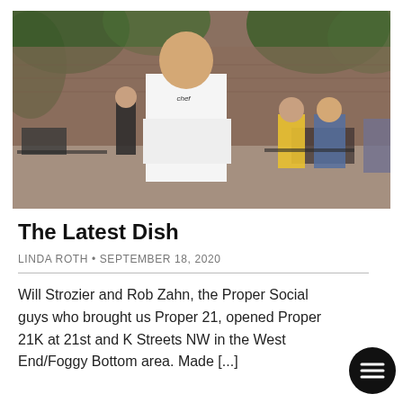[Figure (photo): A chef in white uniform standing with arms crossed in an outdoor restaurant patio area with ivy-covered brick walls and diners seated at tables in the background.]
The Latest Dish
LINDA ROTH • SEPTEMBER 18, 2020
Will Strozier and Rob Zahn, the Proper Social guys who brought us Proper 21, opened Proper 21K at 21st and K Streets NW in the West End/Foggy Bottom area. Made [...]